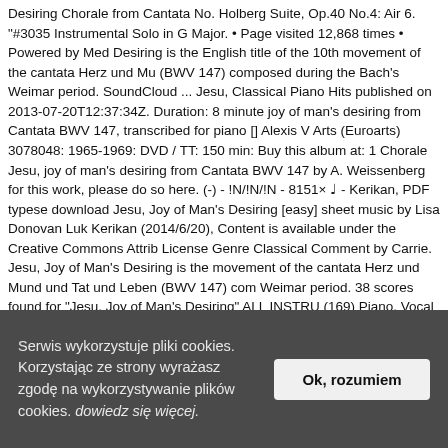Desiring Chorale from Cantata No. Holberg Suite, Op.40 No.4: Air 6. "#3035 Instrumental Solo in G Major. • Page visited 12,868 times • Powered by Med Desiring is the English title of the 10th movement of the cantata Herz und Mu (BWV 147) composed during the Bach's Weimar period. SoundCloud ... Jesu, Classical Piano Hits published on 2013-07-20T12:37:34Z. Duration: 8 minute joy of man's desiring from Cantata BWV 147, transcribed for piano [] Alexis V Arts (Euroarts) 3078048: 1965-1969: DVD / TT: 150 min: Buy this album at: 1 Chorale Jesu, joy of man's desiring from Cantata BWV 147 by A. Weissenberg for this work, please do so here. (-) - !N/!N/!N - 8151× ♩ - Kerikan, PDF typese download Jesu, Joy of Man's Desiring [easy] sheet music by Lisa Donovan Luk Kerikan (2014/6/20), Content is available under the Creative Commons Attrib License Genre Classical Comment by Carrie. Jesu, Joy of Man's Desiring is the movement of the cantata Herz und Mund und Tat und Leben (BWV 147) com Weimar period. 38 scores found for "Jesu, Joy of Man's Desiring" ALL INSTRU (169) Piano, Vocal and Guitar (45) Guitar notes and tablatures (43) Choral SA Quintet: 2 … (-) - !N/!N/!N - 338× ♩ - MP3 - Kerikan, Complete Performance 2 Italy, Chiesa Evangelica Luterana Alessandro Tenaglia (piano) Dedication Aless Duration Avg. 2.4.4 Aria: 'Bereite dir, Jesu, noch itzo die Bahn' (No.5) 2.4.4.1 Aria: 'Hilf, Jesu, hilf, daß ich auch dich bekenne' (No.7) 2.4.5.1 For String Duo von Jesu Wundern singen' (No.9) 2.4.6.1 For String Sextets (Lang) 2.4.6.2 For
Serwis wykorzystuje pliki cookies. Korzystając ze strony wyrażasz zgodę na wykorzystywanie plików cookies. dowiedz się więcej.
Ok, rozumiem